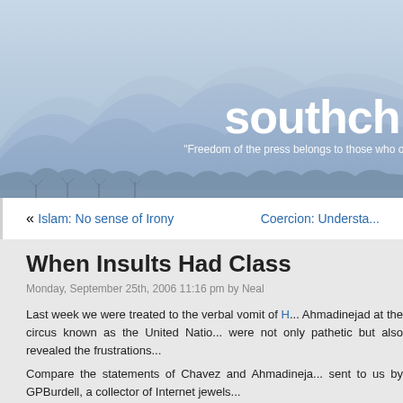[Figure (photo): Mountain landscape banner with blue-grey misty mountains and bare trees in foreground against a hazy sky. Site title 'southchi' visible in large white bold text, with tagline 'Freedom of the press belongs to those who ow...' below it.]
« Islam: No sense of Irony    Coercion: Understa...
When Insults Had Class
Monday, September 25th, 2006 11:16 pm by Neal
Last week we were treated to the verbal vomit of H... Ahmadinejad at the circus known as the United Natio... were not only pathetic but also revealed the frustrations...
Compare the statements of Chavez and Ahmadineja... sent to us by GPBurdell, a collector of Internet jewels...